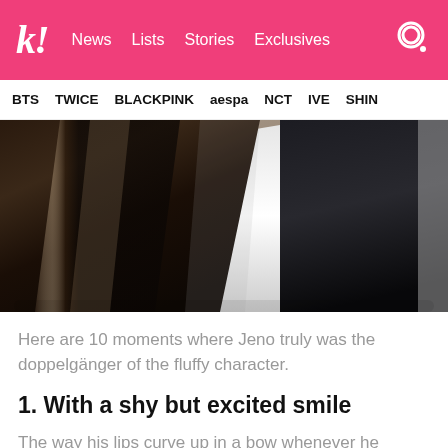k! News Lists Stories Exclusives
BTS TWICE BLACKPINK aespa NCT IVE SHIN
[Figure (photo): Close-up photo showing the back of someone's long dark hair on the left, a white top/shirt in the center, and a dark navy/black jacket on the right. The image is cropped tightly showing backs of two or more people.]
Here are 10 moments where Jeno truly was the doppelgänger of the fluffy character.
1. With a shy but excited smile
The way his lips curve up in a bow whenever he